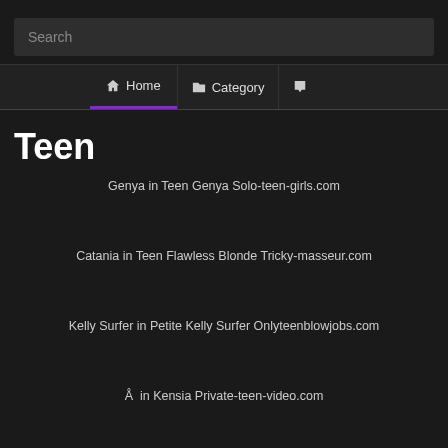Search
Home  Category
Teen
Genya in Teen Genya Solo-teen-girls.com
Catania in Teen Flawless Blonde Tricky-masseur.com
Kelly Surfer in Petite Kelly Surfer Onlyteenblowjobs.com
Å  in Kensia Private-teen-video.com